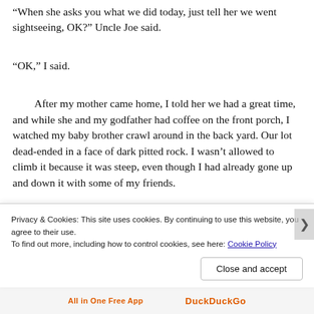“When she asks you what we did today, just tell her we went sightseeing, OK?” Uncle Joe said.
“OK,” I said.
After my mother came home, I told her we had a great time, and while she and my godfather had coffee on the front porch, I watched my baby brother crawl around in the back yard. Our lot dead-ended in a face of dark pitted rock. I wasn’t allowed to climb it because it was steep, even though I had already gone up and down it with some of my friends.
When they ran across the street into our yard after dinner and asked me where I had been all day, I told them all about it
Privacy & Cookies: This site uses cookies. By continuing to use this website, you agree to their use.
To find out more, including how to control cookies, see here: Cookie Policy
Close and accept
All in One Free App   DuckDuckGo